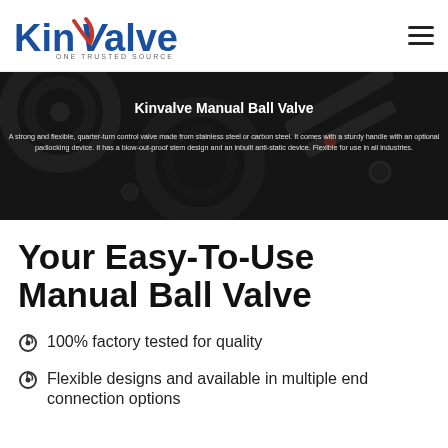[Figure (logo): KinValve logo with blue text and red checkmark V, tagline ONE TRUSTED SOURCE]
[Figure (photo): Dark industrial machinery/ball valve photo used as hero banner background]
Kinvalve Manual Ball Valve
A strong and flexible, quarter-turn control valve made from stainless steel or carbon steel. It comes with a sturdy handle with an optional padlocking device. It has a blow-out-proof stem design and an inbuilt anti-static device. Flexible for use in all industries.
Your Easy-To-Use Manual Ball Valve
100% factory tested for quality
Flexible designs and available in multiple end connection options